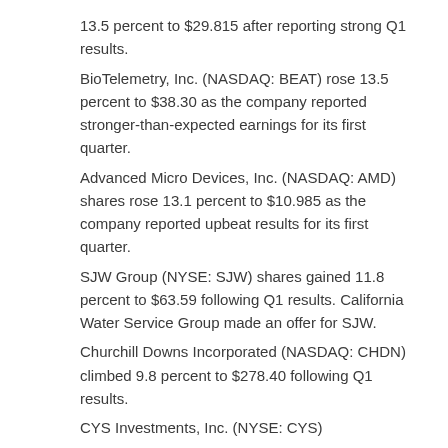13.5 percent to $29.815 after reporting strong Q1 results.
BioTelemetry, Inc. (NASDAQ: BEAT) rose 13.5 percent to $38.30 as the company reported stronger-than-expected earnings for its first quarter.
Advanced Micro Devices, Inc. (NASDAQ: AMD) shares rose 13.1 percent to $10.985 as the company reported upbeat results for its first quarter.
SJW Group (NYSE: SJW) shares gained 11.8 percent to $63.59 following Q1 results. California Water Service Group made an offer for SJW.
Churchill Downs Incorporated (NASDAQ: CHDN) climbed 9.8 percent to $278.40 following Q1 results.
CYS Investments, Inc. (NYSE: CYS)
Hot Performing Stocks To Buy For 2018: ARMOUR Residential REIT, Inc.(ARR)